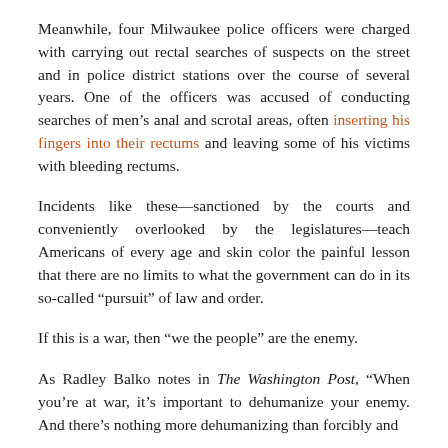Meanwhile, four Milwaukee police officers were charged with carrying out rectal searches of suspects on the street and in police district stations over the course of several years. One of the officers was accused of conducting searches of men's anal and scrotal areas, often inserting his fingers into their rectums and leaving some of his victims with bleeding rectums.
Incidents like these—sanctioned by the courts and conveniently overlooked by the legislatures—teach Americans of every age and skin color the painful lesson that there are no limits to what the government can do in its so-called “pursuit” of law and order.
If this is a war, then “we the people” are the enemy.
As Radley Balko notes in The Washington Post, “When you’re at war, it’s important to dehumanize your enemy. And there’s nothing more dehumanizing than forcibly and